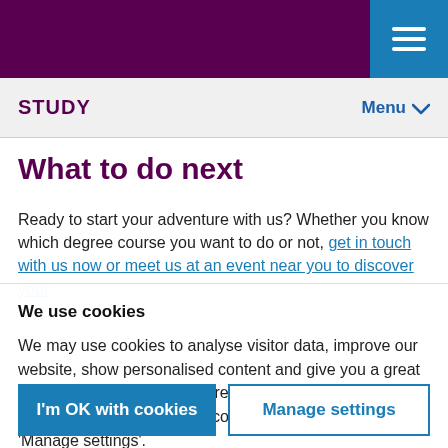STUDY  Menu
What to do next
Ready to start your adventure with us? Whether you know which degree course you want to do or not, get in touch with us now or meet us at an event near you to discover your...
We use cookies
We may use cookies to analyse visitor data, improve our website, show personalised content and give you a great website experience. For more information about cookies on our site and to tailor the cookies we collect, select ‘Manage settings’.
I'm OK with cookies | Manage settings